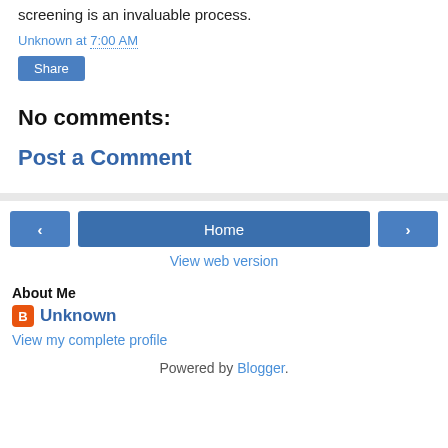screening is an invaluable process.
Unknown at 7:00 AM
Share
No comments:
Post a Comment
‹
Home
›
View web version
About Me
Unknown
View my complete profile
Powered by Blogger.